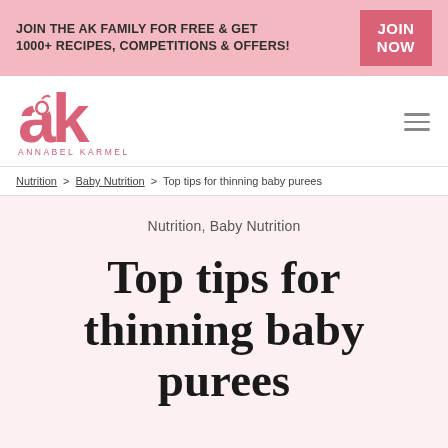JOIN THE AK FAMILY FOR FREE & GET 1000+ RECIPES, COMPETITIONS & OFFERS! JOIN NOW
[Figure (logo): Annabel Karmel AK logo in pink with 'ANNABEL KARMEL' text below]
Nutrition > Baby Nutrition > Top tips for thinning baby purees
Nutrition, Baby Nutrition
Top tips for thinning baby purees